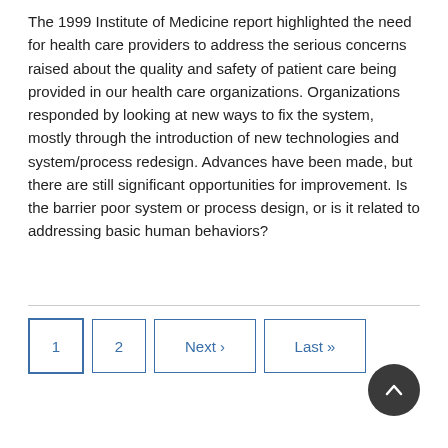The 1999 Institute of Medicine report highlighted the need for health care providers to address the serious concerns raised about the quality and safety of patient care being provided in our health care organizations. Organizations responded by looking at new ways to fix the system, mostly through the introduction of new technologies and system/process redesign. Advances have been made, but there are still significant opportunities for improvement. Is the barrier poor system or process design, or is it related to addressing basic human behaviors?
Pagination: 1, 2, Next ›, Last »